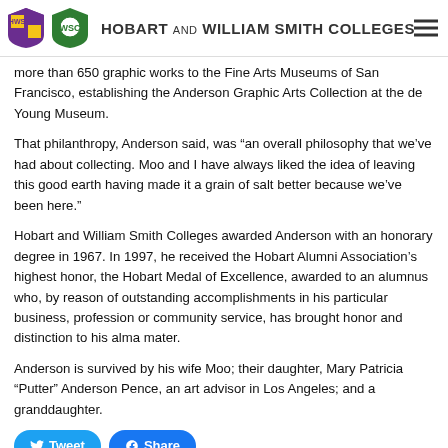HOBART AND WILLIAM SMITH COLLEGES
more than 650 graphic works to the Fine Arts Museums of San Francisco, establishing the Anderson Graphic Arts Collection at the de Young Museum.
That philanthropy, Anderson said, was “an overall philosophy that we’ve had about collecting. Moo and I have always liked the idea of leaving this good earth having made it a grain of salt better because we’ve been here.”
Hobart and William Smith Colleges awarded Anderson with an honorary degree in 1967. In 1997, he received the Hobart Alumni Association’s highest honor, the Hobart Medal of Excellence, awarded to an alumnus who, by reason of outstanding accomplishments in his particular business, profession or community service, has brought honor and distinction to his alma mater.
Anderson is survived by his wife Moo; their daughter, Mary Patricia “Putter” Anderson Pence, an art advisor in Los Angeles; and a granddaughter.